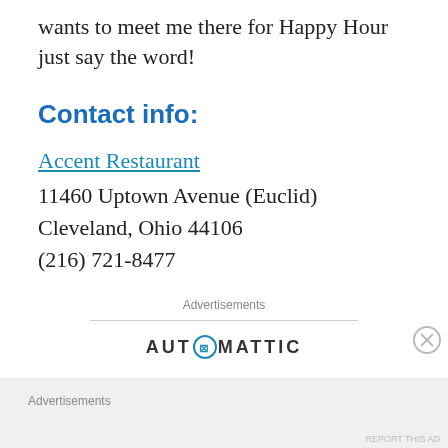wants to meet me there for Happy Hour just say the word!
Contact info:
Accent Restaurant
11460 Uptown Avenue (Euclid)
Cleveland, Ohio 44106
(216) 721-8477
Advertisements
AUTOMATTIC
Advertisements